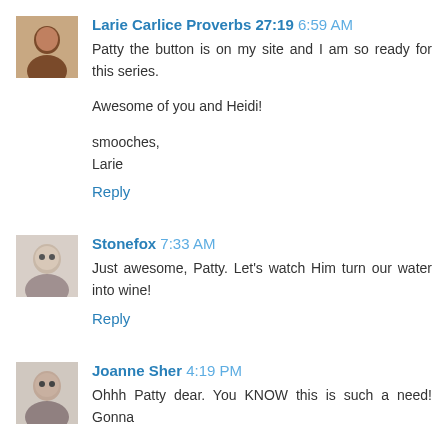Larie Carlice Proverbs 27:19 6:59 AM
Patty the button is on my site and I am so ready for this series.

Awesome of you and Heidi!

smooches,
Larie
Reply
Stonefox 7:33 AM
Just awesome, Patty. Let's watch Him turn our water into wine!
Reply
Joanne Sher 4:19 PM
Ohhh Patty dear. You KNOW this is such a need! Gonna